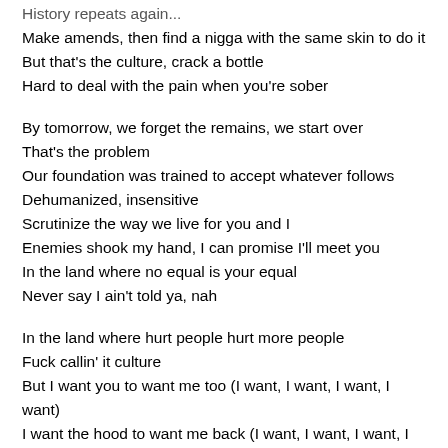History repeats again...
Make amends, then find a nigga with the same skin to do it
But that's the culture, crack a bottle
Hard to deal with the pain when you're sober
By tomorrow, we forget the remains, we start over
That's the problem
Our foundation was trained to accept whatever follows
Dehumanized, insensitive
Scrutinize the way we live for you and I
Enemies shook my hand, I can promise I'll meet you
In the land where no equal is your equal
Never say I ain't told ya, nah
In the land where hurt people hurt more people
Fuck callin' it culture
But I want you to want me too (I want, I want, I want, I want)
I want the hood to want me back (I want, I want, I want, I want)
I want the hood